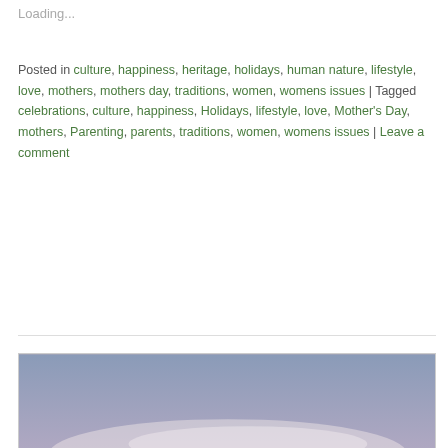Loading...
Posted in culture, happiness, heritage, holidays, human nature, lifestyle, love, mothers, mothers day, traditions, women, womens issues | Tagged celebrations, culture, happiness, Holidays, lifestyle, love, Mother's Day, mothers, Parenting, parents, traditions, women, womens issues | Leave a comment
[Figure (photo): Landscape photo of a snow-capped mountain peak with evergreen trees silhouetted in the foreground against a pastel pink and blue twilight sky]
Advertisements
[Figure (screenshot): DuckDuckGo advertisement banner: orange background with text 'Search, browse, and email with more privacy. All in One Free App' and DuckDuckGo duck logo on dark background]